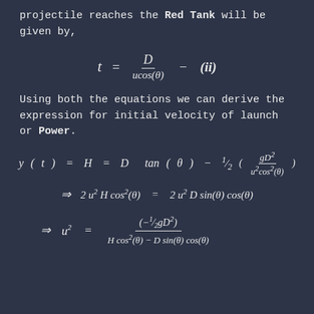projectile reaches the Red Tank will be given by,
Using both the equations we can derive the expression for initial velocity of launch or Power.